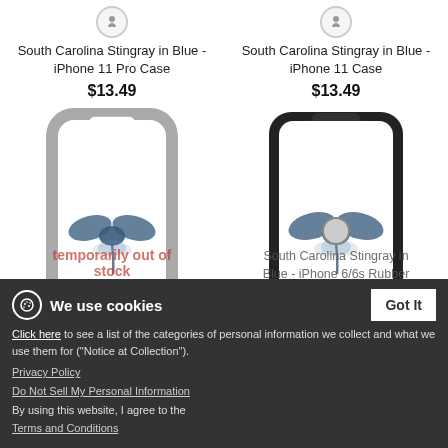[Figure (illustration): Two phone cases side by side. Left: South Carolina Stingray in Blue iPhone 11 Pro Case with gray border and stingray illustration. Right: South Carolina Stingray in Blue iPhone 11 Case with black border and stingray illustration.]
South Carolina Stingray in Blue - iPhone 11 Pro Case
$13.49
South Carolina Stingray in Blue - iPhone 11 Case
$13.49
temporarily out of stock
South Carolina Stingray in Blue - iPhone 6/6s Plus
South Carolina Stingray in Blue - iPhone 6/6s Rubber Case
$20.49
We use cookies
Click here to see a list of the categories of personal information we collect and what we use them for ("Notice at Collection").
Privacy Policy
Do Not Sell My Personal Information
By using this website, I agree to the Terms and Conditions